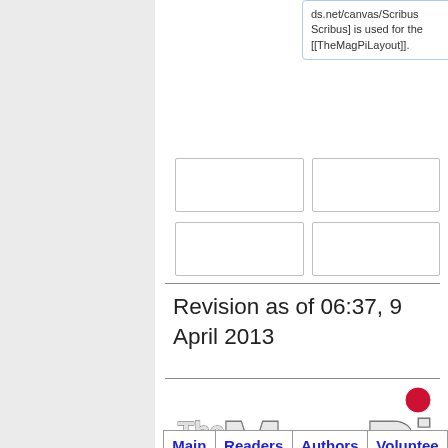ds.net/canvas/Scribus Scribus] is used for the [[TheMagPiLayout]].
Revision as of 06:37, 9 April 2013
[Figure (logo): The MagPi logo - large text reading 'The MagPi' with a red dot above the 'i' and TM mark]
| Main | Readers | Authors | Voluntee... |
| --- | --- | --- | --- |